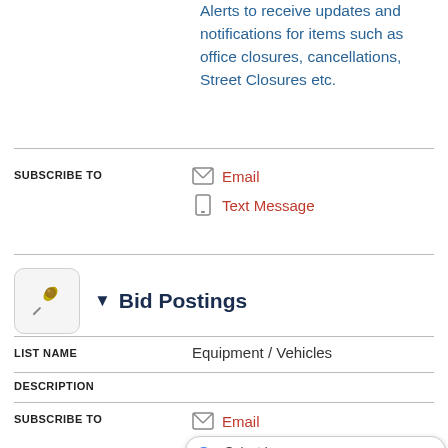Alerts to receive updates and notifications for items such as office closures, cancellations, Street Closures etc.
SUBSCRIBE TO
Email
Text Message
▼ Bid Postings
LIST NAME
Equipment / Vehicles
DESCRIPTION
SUBSCRIBE TO
Email
Text M
LIST NAME
Insurance Related - RFPs